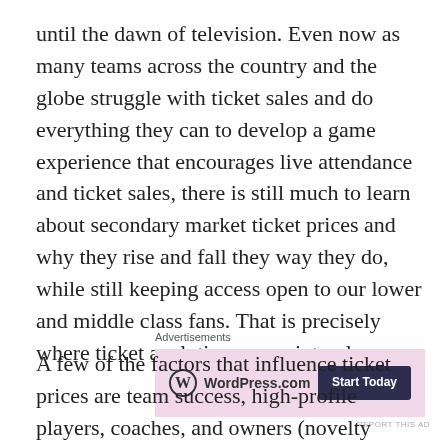until the dawn of television. Even now as many teams across the country and the globe struggle with ticket sales and do everything they can to develop a game experience that encourages live attendance and ticket sales, there is still much to learn about secondary market ticket prices and why they rise and fall they way they do, while still keeping access open to our lower and middle class fans. That is precisely where ticket analytics comes into play.
[Figure (other): WordPress.com advertisement banner with pink background, WordPress logo on the left and 'Start Today' dark button on the right, with 'Advertisements' label above and 'REPORT THIS AD' text below.]
A few of the factors that influence ticket prices are team success, high-profile players, coaches, and owners (novelty effect), game experience and entertainment, team quality and winning percentage, opponent quality and